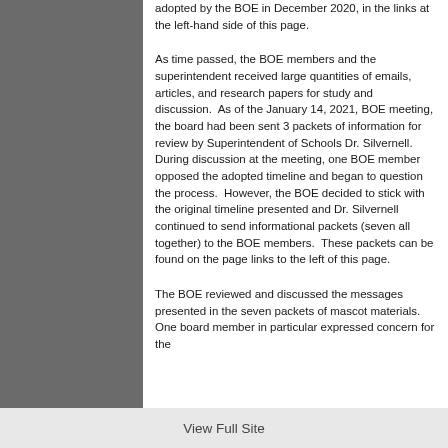adopted by the BOE in December 2020, in the links at the left-hand side of this page.
As time passed, the BOE members and the superintendent received large quantities of emails, articles, and research papers for study and discussion.  As of the January 14, 2021, BOE meeting, the board had been sent 3 packets of information for review by Superintendent of Schools Dr. Silvernell.  During discussion at the meeting, one BOE member opposed the adopted timeline and began to question the process.  However, the BOE decided to stick with the original timeline presented and Dr. Silvernell continued to send informational packets (seven all together) to the BOE members.  These packets can be found on the page links to the left of this page.
The BOE reviewed and discussed the messages presented in the seven packets of mascot materials.  One board member in particular expressed concern for the
View Full Site